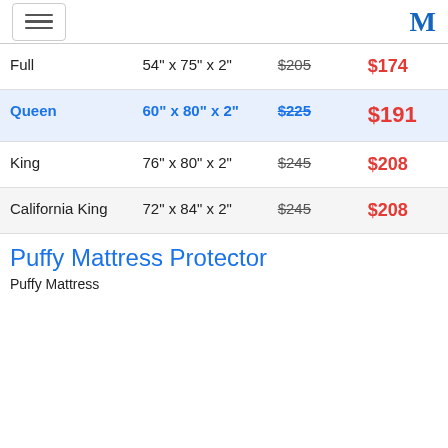[hamburger menu] [M logo]
| Full | 54" x 75" x 2" | $205 | $174 |
| Queen | 60" x 80" x 2" | $225 | $191 |
| King | 76" x 80" x 2" | $245 | $208 |
| California King | 72" x 84" x 2" | $245 | $208 |
Puffy Mattress Protector
Puffy Mattress